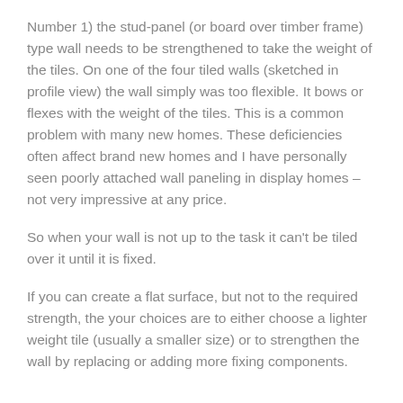Number 1) the stud-panel (or board over timber frame) type wall needs to be strengthened to take the weight of the tiles.  On one of the four tiled walls (sketched in profile view) the wall simply was too flexible. It bows or flexes with the weight of the tiles. This is a common problem with many new homes.  These deficiencies often affect brand new homes and I have personally seen poorly attached wall paneling in display homes – not very impressive at any price.
So when your wall is not up to the task it can't be tiled over it until it is fixed.
If you can create a flat surface, but not to the required strength, the your choices are to either choose a lighter weight tile (usually a smaller size) or to strengthen the wall by replacing or adding more fixing components.